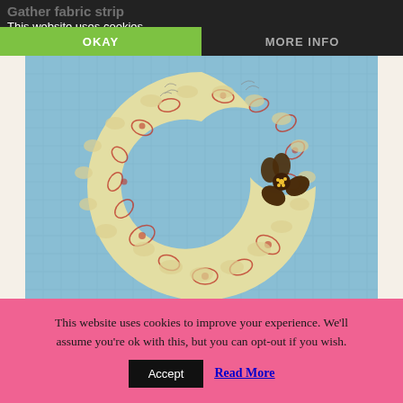Gather fabric strip
This website uses cookies
OKAY
MORE INFO
[Figure (photo): A horseshoe-shaped gathered fabric collar/ruffle in cream/yellow fabric with red floral pattern, laid flat on a blue-green cutting mat. A dark brown fabric flower decoration is attached on the right side. The fabric edges are ruffled/gathered.]
This website uses cookies to improve your experience. We'll assume you're ok with this, but you can opt-out if you wish.
Accept
Read More